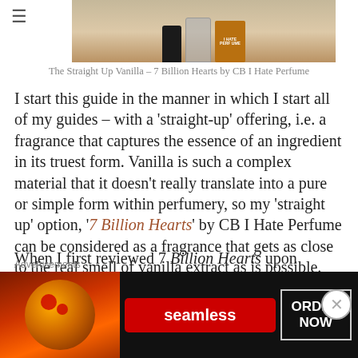[Figure (photo): Product photo of perfume bottles including CB I Hate Perfume brand bottle against a light beige/cream background]
The Straight Up Vanilla – 7 Billion Hearts by CB I Hate Perfume
I start this guide in the manner in which I start all of my guides – with a 'straight-up' offering, i.e. a fragrance that captures the essence of an ingredient in its truest form. Vanilla is such a complex material that it doesn't really translate into a pure or simple form within perfumery, so my 'straight up' option, '7 Billion Hearts' by CB I Hate Perfume can be considered as a fragrance that gets as close to the real smell of vanilla extract as is possible.
When I first reviewed 7 Billion Hearts upon its release, I described it as smelling like "the best vanilla extract in the world", and that is a statement that I
Advertisements
[Figure (photo): Seamless food delivery advertisement banner with pizza image, Seamless logo in red, and ORDER NOW button]